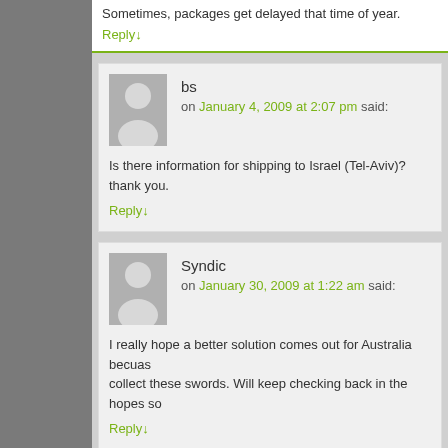Sometimes, packages get delayed that time of year.
Reply↓
bs
on January 4, 2009 at 2:07 pm said:
Is there information for shipping to Israel (Tel-Aviv)? thank you.
Reply↓
Syndic
on January 30, 2009 at 1:22 am said:
I really hope a better solution comes out for Australia becuas collect these swords. Will keep checking back in the hopes so
Reply↓